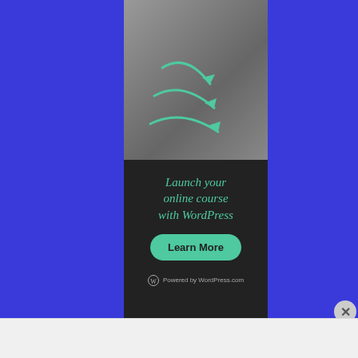[Figure (illustration): WordPress.com advertisement banner showing a 3D sculptural figure with teal arrows, dark background with text 'Launch your online course with WordPress', a green 'Learn More' button, and 'Powered by WordPress.com' footer]
Advertisements
[Figure (illustration): Longreads advertisement banner in red with logo and tagline: 'The best stories on the web — ours, and everyone else's.']